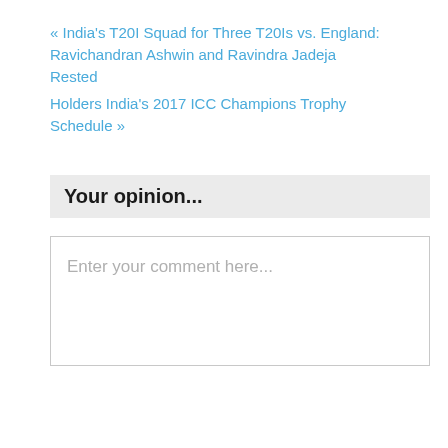« India's T20I Squad for Three T20Is vs. England: Ravichandran Ashwin and Ravindra Jadeja Rested
Holders India's 2017 ICC Champions Trophy Schedule »
Your opinion...
Enter your comment here...